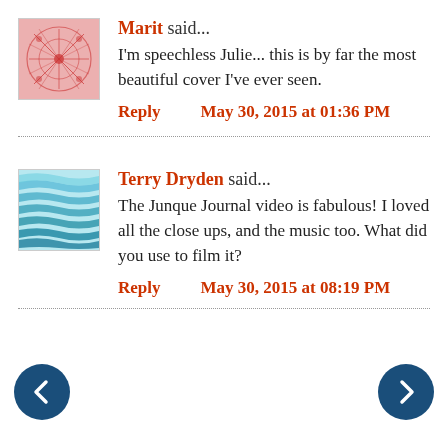[Figure (illustration): Avatar image for Marit: red/pink abstract network/web pattern on white background]
Marit said...
I'm speechless Julie... this is by far the most beautiful cover I've ever seen.
Reply   May 30, 2015 at 01:36 PM
[Figure (illustration): Avatar image for Terry Dryden: teal/blue wavy horizontal stripes pattern]
Terry Dryden said...
The Junque Journal video is fabulous! I loved all the close ups, and the music too. What did you use to film it?
Reply   May 30, 2015 at 08:19 PM